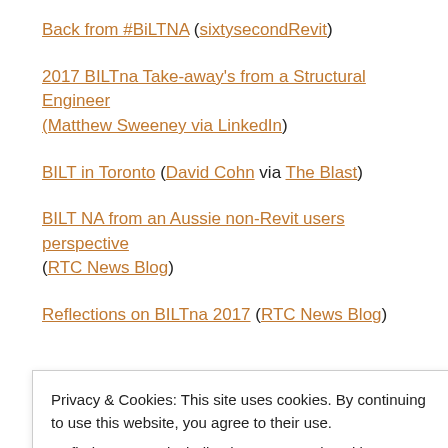Back from #BiLTNA (sixtysecondRevit)
2017 BILTna Take-away's from a Structural Engineer (Matthew Sweeney via LinkedIn)
BILT in Toronto (David Cohn via The Blast)
BILT NA from an Aussie non-Revit users perspective (RTC News Blog)
Reflections on BILTna 2017 (RTC News Blog)
Privacy & Cookies: This site uses cookies. By continuing to use this website, you agree to their use.
To find out more, including how to control cookies, see here: Cookie Policy
E90 BILTNA 2017 RECAP (BIMThoughts)